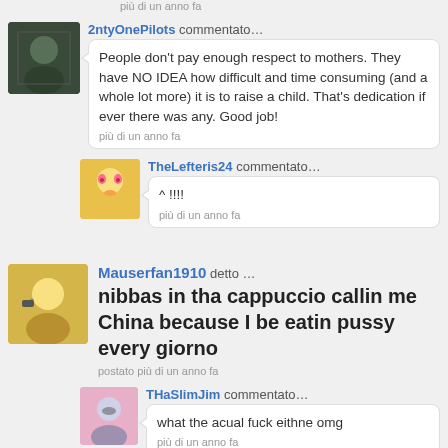più di un anno fa
2ntyOnePilots commentato…
People don't pay enough respect to mothers. They have NO IDEA how difficult and time consuming (and a whole lot more) it is to raise a child. That's dedication if ever there was any. Good job!
più di un anno fa
TheLefteris24 commentato…
^ !!!!
più di un anno fa
Mauserfan1910 detto …
nibbas in tha cappuccio callin me China because I be eatin pussy every giorno
postato più di un anno fa
THaSlimJim commentato…
what the acual fuck eithne omg
più di un anno fa
Mauserfan1910 commentato…